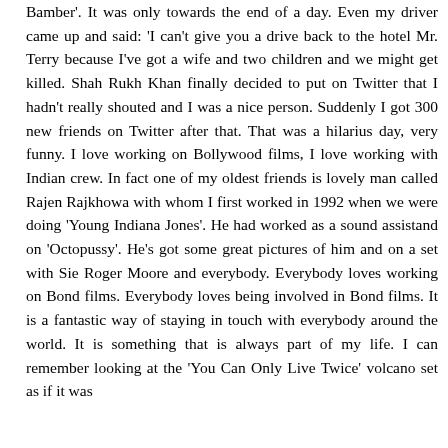Bamber'. It was only towards the end of a day. Even my driver came up and said: 'I can't give you a drive back to the hotel Mr. Terry because I've got a wife and two children and we might get killed. Shah Rukh Khan finally decided to put on Twitter that I hadn't really shouted and I was a nice person. Suddenly I got 300 new friends on Twitter after that. That was a hilarius day, very funny. I love working on Bollywood films, I love working with Indian crew. In fact one of my oldest friends is lovely man called Rajen Rajkhowa with whom I first worked in 1992 when we were doing 'Young Indiana Jones'. He had worked as a sound assistand on 'Octopussy'. He's got some great pictures of him and on a set with Sie Roger Moore and everybody. Everybody loves working on Bond films. Everybody loves being involved in Bond films. It is a fantastic way of staying in touch with everybody around the world. It is something that is always part of my life. I can remember looking at the 'You Can Only Live Twice' volcano set as if it was